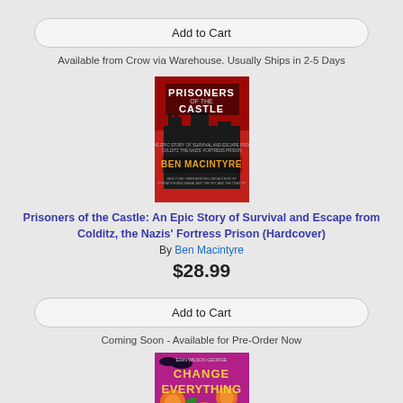Add to Cart
Available from Crow via Warehouse. Usually Ships in 2-5 Days
[Figure (photo): Book cover of 'Prisoners of the Castle' by Ben Macintyre, showing a dark castle silhouette against a red sky with the title and author text.]
Prisoners of the Castle: An Epic Story of Survival and Escape from Colditz, the Nazis' Fortress Prison (Hardcover)
By Ben Macintyre
$28.99
Add to Cart
Coming Soon - Available for Pre-Order Now
[Figure (photo): Book cover of 'Change Everything' showing colorful floral design with orange flowers on a purple/pink background.]